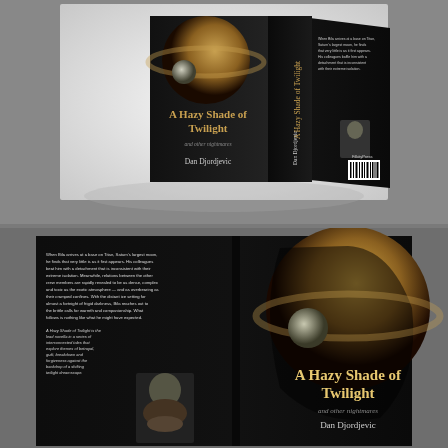[Figure (photo): 3D rendered book cover showing front and back of 'A Hazy Shade of Twilight and other nightmares' by Dan Djordjevic, with Saturn-like planet on dark background, displayed on white/light background]
[Figure (photo): Flat book cover spread showing front and back of 'A Hazy Shade of Twilight' by Dan Djordjevic, with Saturn-like planet image on dark black background, back cover has text and author photo]